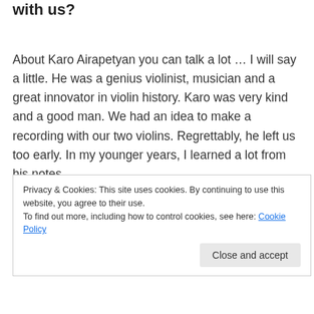with us?
About Karo Airapetyan you can talk a lot … I will say a little. He was a genius violinist, musician and a great innovator in violin history. Karo was very kind and a good man. We had an idea to make a recording with our two violins. Regrettably, he left us too early. In my younger years, I learned a lot from his notes…
When I still lived in Kishinev, many interesting friends were coming to my house. Once, one of them brought a new person – Karo, who had been invited from
Privacy & Cookies: This site uses cookies. By continuing to use this website, you agree to their use.
To find out more, including how to control cookies, see here: Cookie Policy
Close and accept